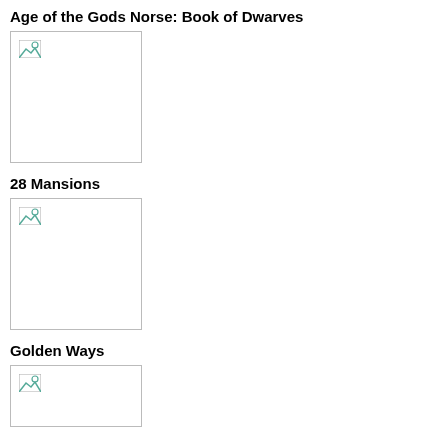Age of the Gods Norse: Book of Dwarves
[Figure (photo): Broken/missing image placeholder for Age of the Gods Norse: Book of Dwarves]
28 Mansions
[Figure (photo): Broken/missing image placeholder for 28 Mansions]
Golden Ways
[Figure (photo): Broken/missing image placeholder for Golden Ways]